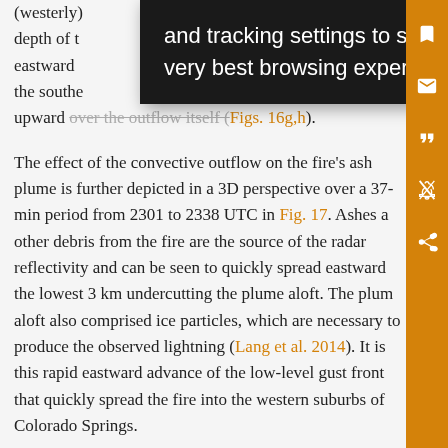(westerly) ... depth of t... urged eastward ... on that the southe... lifte upward over the outflow itself (Figs. 16g,h).
[Figure (screenshot): Browser cookie/tracking tooltip overlay with black background and white text reading: 'and tracking settings to store information that help give you the very best browsing experience.']
The effect of the convective outflow on the fire’s ash plume is further depicted in a 3D perspective over a 37-min period from 2301 to 2338 UTC in Fig. 17. Ashes and other debris from the fire are the source of the radar reflectivity and can be seen to quickly spread eastward the lowest 3 km undercutting the plume aloft. The plume aloft also comprised ice particles, which are necessary to produce the observed lightning (Lang et al. 2014). It is this rapid eastward advance of the low-level gust front that quickly spread the fire into the western suburbs of Colorado Springs.